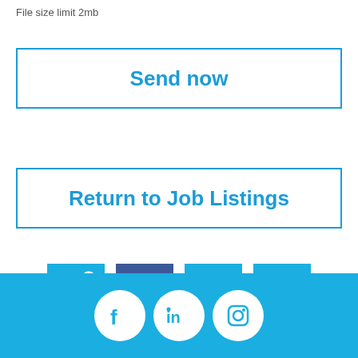File size limit 2mb
Send now
Return to Job Listings
[Figure (infographic): Four social sharing icons: share (light blue), Facebook (dark blue), LinkedIn (medium blue), email envelope (light blue)]
[Figure (infographic): Footer bar with Facebook, LinkedIn, and Instagram icons in white circles on a sky-blue background]